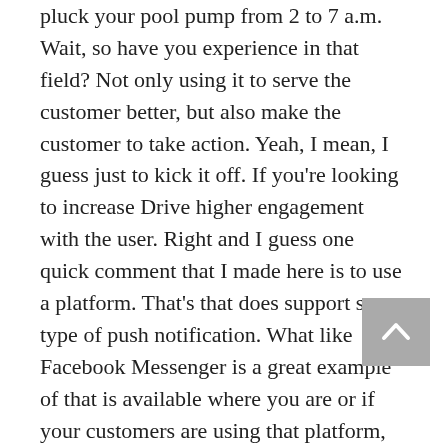pluck your pool pump from 2 to 7 a.m. Wait, so have you experience in that field? Not only using it to serve the customer better, but also make the customer to take action. Yeah, I mean, I guess just to kick it off. If you're looking to increase Drive higher engagement with the user. Right and I guess one quick comment that I made here is to use a platform. That's that does support some type of push notification. What like Facebook Messenger is a great example of that is available where you are or if your customers are using that platform, but with Facebook you at least have the ability to send push notifications if the user based on events, right? Like if the user it has like leaving it is they're leaving is leaving